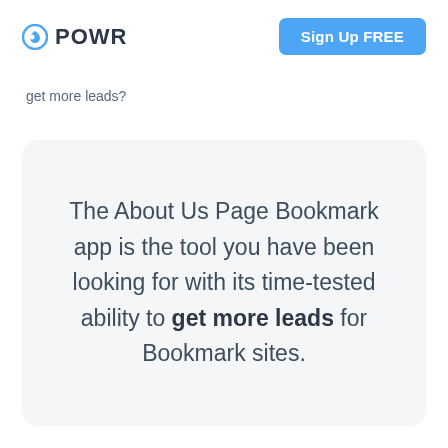POWR
Sign Up FREE
get more leads?
The About Us Page Bookmark app is the tool you have been looking for with its time-tested ability to get more leads for Bookmark sites.